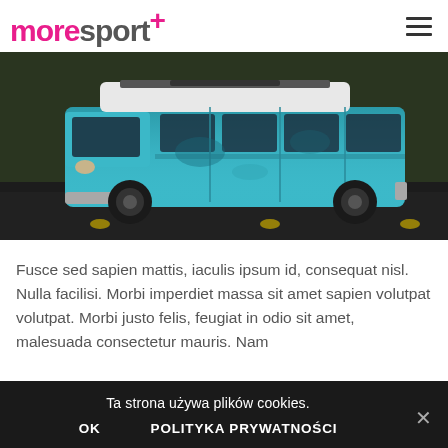moresport+
[Figure (photo): A vintage blue Volkswagen Type 2 van parked on a dark road with green foliage in the background. The van is weathered and has a white roof.]
Fusce sed sapien mattis, iaculis ipsum id, consequat nisl. Nulla facilisi. Morbi imperdiet massa sit amet sapien volutpat volutpat. Morbi justo felis, feugiat in odio sit amet, malesuada consectetur mauris. Nam
Ta strona używa plików cookies. OK POLITYKA PRYWATNOŚCI